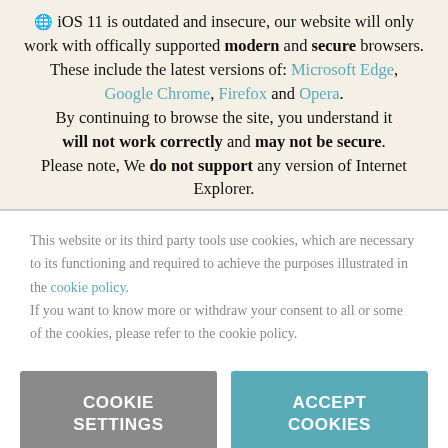iOS 11 is outdated and insecure, our website will only work with offically supported modern and secure browsers. These include the latest versions of: Microsoft Edge, Google Chrome, Firefox and Opera. By continuing to browse the site, you understand it will not work correctly and may not be secure. Please note, We do not support any version of Internet Explorer.
This website or its third party tools use cookies, which are necessary to its functioning and required to achieve the purposes illustrated in the cookie policy. If you want to know more or withdraw your consent to all or some of the cookies, please refer to the cookie policy.
COOKIE SETTINGS
ACCEPT COOKIES